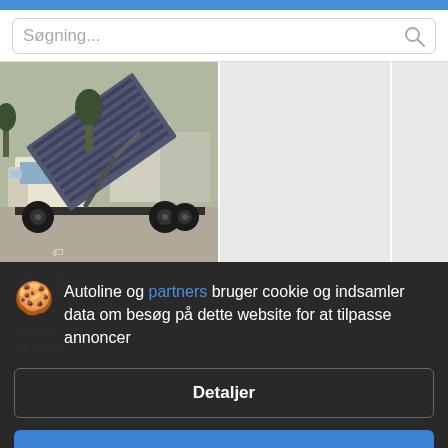Søgning...
[Figure (photo): Isuzu tipper truck with raised dump bed, parked in a yard with other vehicles in background]
ISUZU
pris efter forespørgsel
Tipplad  2001
By 160.2...
Autoline og partners bruger cookie og indsamler data om besøg på dette website for at tilpasse annoncer
Detaljer
Godkend og luk